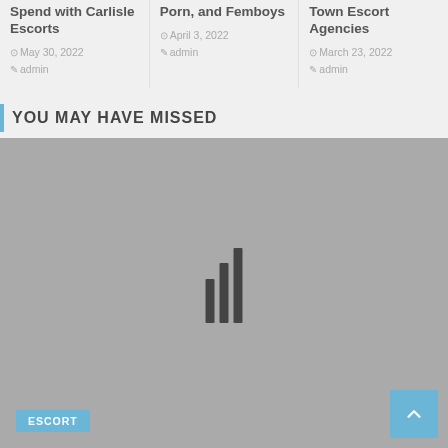Spend with Carlisle Escorts
⊙ May 30, 2022
✎ admin
Porn, and Femboys
⊙ April 3, 2022
✎ admin
Town Escort Agencies
⊙ March 23, 2022
✎ admin
YOU MAY HAVE MISSED
[Figure (photo): Large gray placeholder image with loading bars overlay, ESCORT tag at bottom left, scroll-to-top button at bottom right]